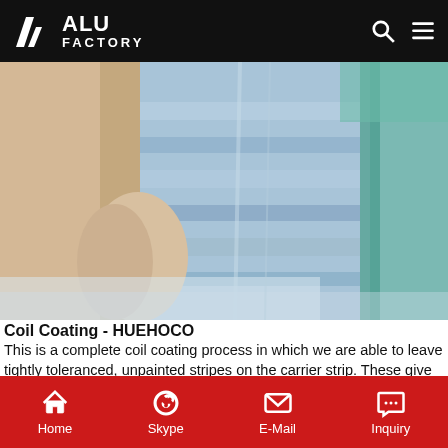ALU FACTORY
[Figure (photo): Coil coating product rolls wrapped in packaging — blue/silver aluminum coils with beige/cream protective wrapping and plastic sheeting]
Coil Coating - HUEHOCO
This is a complete coil coating process in which we are able to leave tightly toleranced, unpainted stripes on the carrier strip. These give the decorative effect to the finished article, while the coated areas are coated with an adhesive system (e.g. automotive trim material or white coating with a
Get Price
Home  Skype  E-Mail  Inquiry